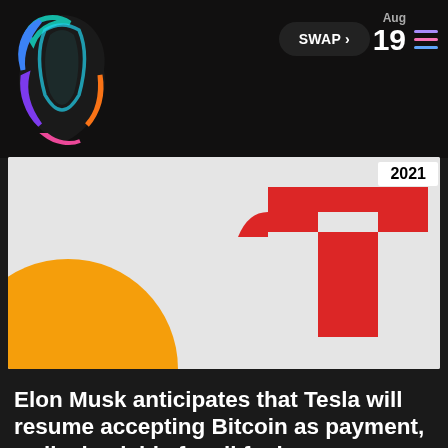SWAP > | Aug 19 2021
[Figure (illustration): Hero image showing Tesla logo in red on a light gray background with an orange circular shape on the lower left. The Tesla T-shape logo is prominently visible in red on the right side.]
Elon Musk anticipates that Tesla will resume accepting Bitcoin as payment, walks back his fossil fuel concern
Elon Musk Tesla Bitcoin is still a popular search